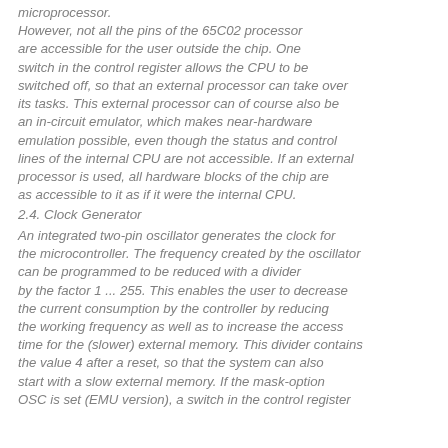microprocessor. However, not all the pins of the 65C02 processor are accessible for the user outside the chip. One switch in the control register allows the CPU to be switched off, so that an external processor can take over its tasks. This external processor can of course also be an in-circuit emulator, which makes near-hardware emulation possible, even though the status and control lines of the internal CPU are not accessible. If an external processor is used, all hardware blocks of the chip are as accessible to it as if it were the internal CPU.
2.4. Clock Generator
An integrated two-pin oscillator generates the clock for the microcontroller. The frequency created by the oscillator can be programmed to be reduced with a divider by the factor 1 ... 255. This enables the user to decrease the current consumption by the controller by reducing the working frequency as well as to increase the access time for the (slower) external memory. This divider contains the value 4 after a reset, so that the system can also start with a slow external memory. If the mask-option OSC is set (EMU version), a switch in the control register